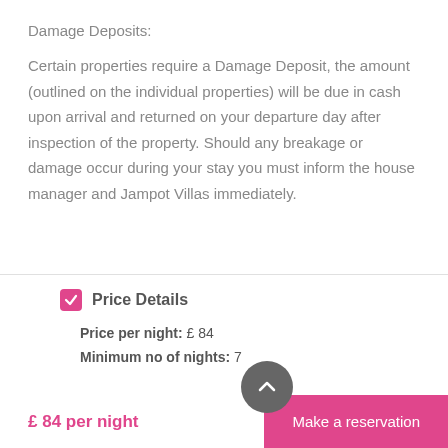Damage Deposits:
Certain properties require a Damage Deposit, the amount (outlined on the individual properties) will be due in cash upon arrival and returned on your departure day after inspection of the property. Should any breakage or damage occur during your stay you must inform the house manager and Jampot Villas immediately.
Price Details
Price per night: £ 84
Minimum no of nights: 7
£ 84 per night
Make a reservation